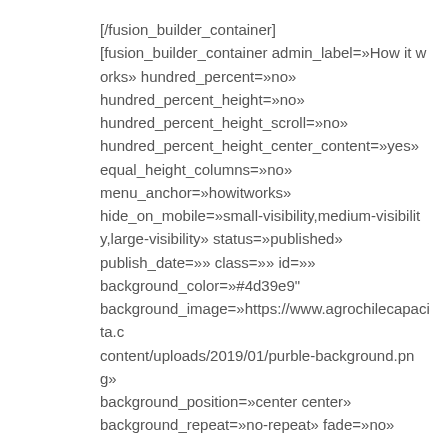[/fusion_builder_container]
[fusion_builder_container admin_label=»How it works» hundred_percent=»no» hundred_percent_height=»no» hundred_percent_height_scroll=»no» hundred_percent_height_center_content=»yes» equal_height_columns=»no» menu_anchor=»howitworks» hide_on_mobile=»small-visibility,medium-visibility,large-visibility» status=»published» publish_date=»» class=»» id=»» background_color=»#4d39e9" background_image=»https://www.agrochilecapacita.c content/uploads/2019/01/purble-background.png» background_position=»center center» background_repeat=»no-repeat» fade=»no»